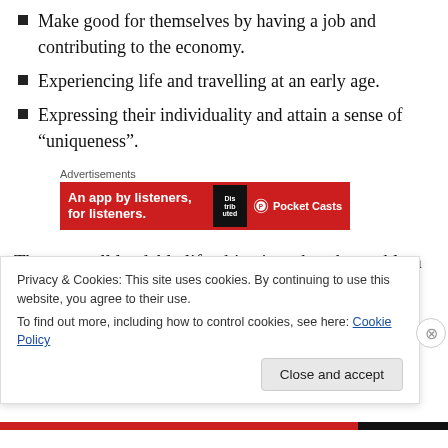Make good for themselves by having a job and contributing to the economy.
Experiencing life and travelling at an early age.
Expressing their individuality and attain a sense of “uniqueness”.
[Figure (other): Advertisement banner for Pocket Casts app: red background with text 'An app by listeners, for listeners.' and Pocket Casts logo]
These are all laudable life objectives, but the problem is that they are increasingly untenable for young people to
Privacy & Cookies: This site uses cookies. By continuing to use this website, you agree to their use.
To find out more, including how to control cookies, see here: Cookie Policy
Close and accept